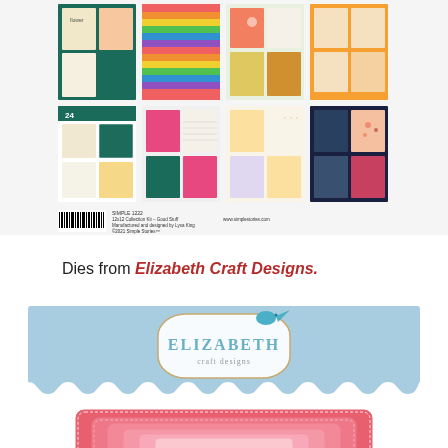[Figure (photo): Product shot of a 12x12 paper collection kit showing 8 patterned paper thumbnails in a 4x2 grid with barcode and product text]
Dies from Elizabeth Craft Designs.
[Figure (photo): Elizabeth Craft Designs logo on light blue background with cloud wave border, followed by pink nested stitched die cut rectangles below]